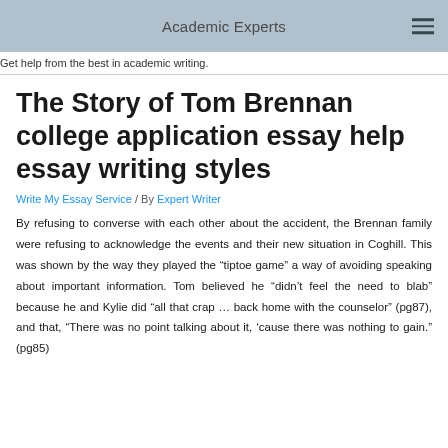Academic Experts
Get help from the best in academic writing.
The Story of Tom Brennan college application essay help essay writing styles
Write My Essay Service / By Expert Writer
By refusing to converse with each other about the accident, the Brennan family were refusing to acknowledge the events and their new situation in Coghill. This was shown by the way they played the “tiptoe game” a way of avoiding speaking about important information. Tom believed he “didn’t feel the need to blab” because he and Kylie did “all that crap … back home with the counselor” (pg87), and that, “There was no point talking about it, ‘cause there was nothing to gain.” (pg85)